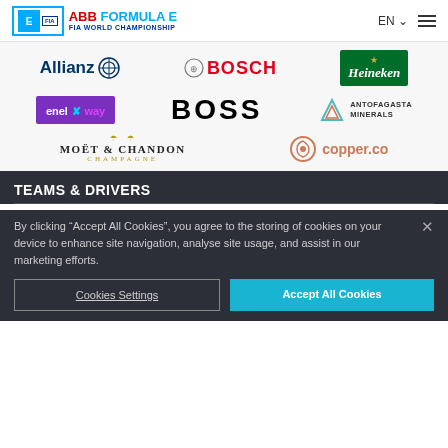ABB FORMULA E FIA WORLD CHAMPIONSHIP | EN
[Figure (logo): Allianz logo]
[Figure (logo): Bosch logo]
[Figure (logo): Heineken logo]
[Figure (logo): enel x way logo]
[Figure (logo): BOSS logo]
[Figure (logo): Antofagasta Minerals logo]
[Figure (logo): Moet & Chandon Champagne logo]
[Figure (logo): copper.co logo]
TEAMS & DRIVERS
By clicking “Accept All Cookies”, you agree to the storing of cookies on your device to enhance site navigation, analyse site usage, and assist in our marketing efforts.
Cookies Settings | Accept All Cookies